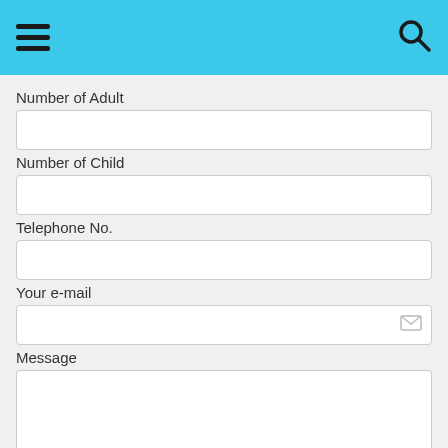Navigation header with hamburger menu and search icon
Number of Adult
Number of Child
Telephone No.
Your e-mail
Message
Book Now
By submitting the form, you agree with our [privacy policy].
[Figure (logo): Payment method logos: PayPal, Visa/card, Mastercard, Powered by badge]